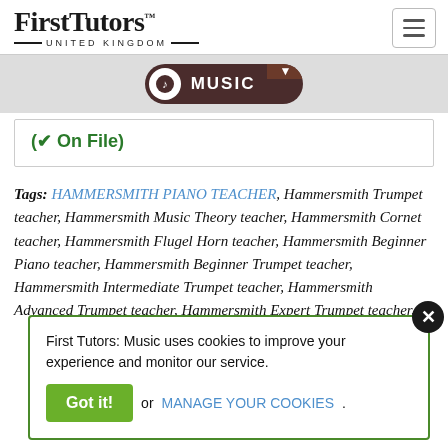[Figure (logo): FirstTutors United Kingdom logo with hamburger menu icon]
MUSIC
(✔ On File)
Tags: HAMMERSMITH PIANO TEACHER, Hammersmith Trumpet teacher, Hammersmith Music Theory teacher, Hammersmith Cornet teacher, Hammersmith Flugel Horn teacher, Hammersmith Beginner Piano teacher, Hammersmith Beginner Trumpet teacher, Hammersmith Intermediate Trumpet teacher, Hammersmith Advanced Trumpet teacher, Hammersmith Expert Trumpet teacher,
First Tutors: Music uses cookies to improve your experience and monitor our service. Got it! or MANAGE YOUR COOKIES.